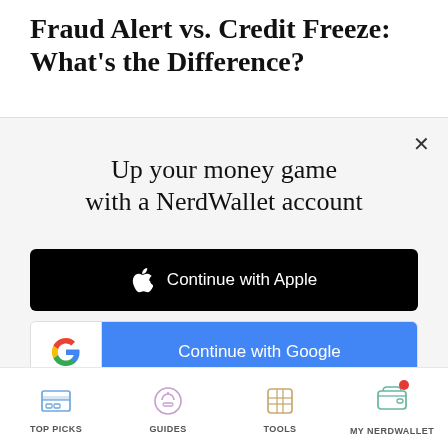Fraud Alert vs. Credit Freeze: What's the Difference?
Up your money game with a NerdWallet account
[Figure (screenshot): Continue with Apple button — black rounded rectangle with Apple logo icon and white text 'Continue with Apple']
[Figure (screenshot): Continue with Google button — white left box with Google 'G' logo, blue right section with white text 'Continue with Google']
or continue with email
By signing up, I agree to NerdWallet's Terms of Service and Privacy Policy.
TOP PICKS   GUIDES   TOOLS   MY NERDWALLET